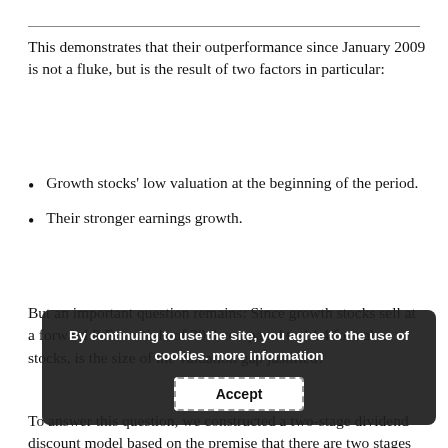This demonstrates that their outperformance since January 2009 is not a fluke, but is the result of two factors in particular:
Growth stocks' low valuation at the beginning of the period.
Their stronger earnings growth.
But an important question remains: Since growth stocks sell at a forward P/E multiple of 20.9 compared to 14.4 for value stocks, is the size of the valuation gap justified?
To answer this question, we constructed a two-stage dividend discount model based on the premise that there are two stages in a company's life: Stage 1, wherein the